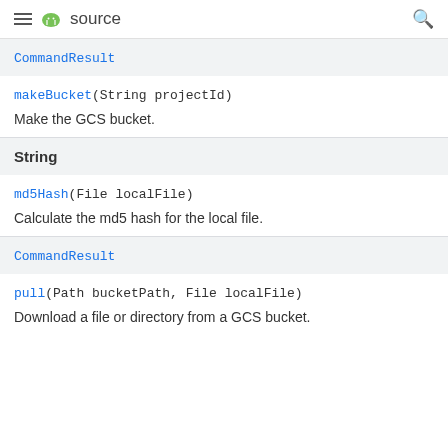≡ Android source 🔍
CommandResult
makeBucket(String projectId)
Make the GCS bucket.
String
md5Hash(File localFile)
Calculate the md5 hash for the local file.
CommandResult
pull(Path bucketPath, File localFile)
Download a file or directory from a GCS bucket.